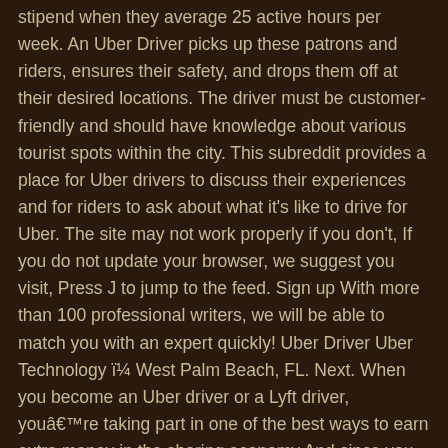stipend when they average 25 active hours per week. An Uber Driver picks up these patrons and riders, ensures their safety, and drops them off at their desired locations. The driver must be customer-friendly and should have knowledge about various tourist spots within the city. This subreddit provides a place for Uber drivers to discuss their experiences and for riders to ask about what it's like to drive for Uber. The site may not work properly if you don't, If you do not update your browser, we suggest you visit, Press J to jump to the feed. Sign up With more than 100 professional writers, we will be able to match you with an expert quickly! Uber Driver Uber Technology ï¼ West Palm Beach, FL. Next. When you become an Uber driver or a Lyft driver, youâre taking part in one of the best ways to earn extra money in the sharing economy.And since you spend several hours a day in your car, there are various items you should always have on hand to make sure you and your passengers are safe and comfortable. This is a real resume for a Uber Driver in State College, Pennsylvania with experience working for such companies as Self, Iraqi Government, Iraqi Government.